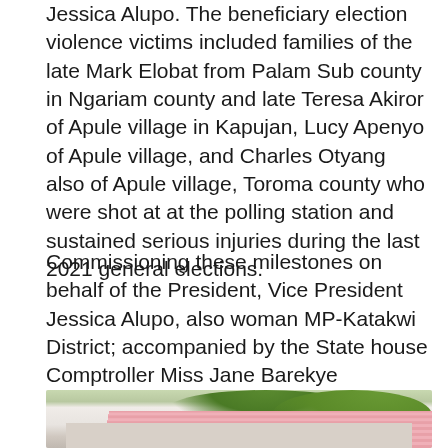Jessica Alupo. The beneficiary election violence victims included families of the late Mark Elobat from Palam Sub county in Ngariam county and late Teresa Akiror of Apule village in Kapujan, Lucy Apenyo of Apule village, and Charles Otyang also of Apule village, Toroma county who were shot at at the polling station and sustained serious injuries during the last 2021 general elections.
Commissioning these milestones on behalf of the President, Vice President Jessica Alupo, also woman MP-Katakwi District; accompanied by the State house Comptroller Miss Jane Barekye condoled with the families who lost their loved ones and said that government has the capacity to give justice to victims, while assuring them that Government will work continously to bring the culprits to book.
[Figure (photo): Partial view of a building with a pink/red striped corrugated iron roof, white walls, and green tree leaves visible at the top.]